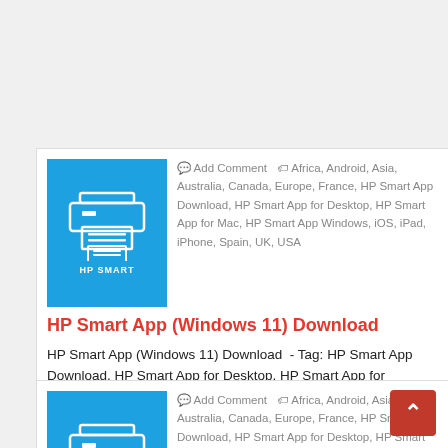[Figure (screenshot): HP Smart app icon on blue background showing printer and document icons]
Add Comment   Africa, Android, Asia, Australia, Canada, Europe, France, HP Smart App Download, HP Smart App for Desktop, HP Smart App for Mac, HP Smart App Windows, iOS, iPad, iPhone, Spain, UK, USA
HP Smart App (Windows 11) Download
HP Smart App (Windows 11) Download  - Tag: HP Smart App Download, HP Smart App for Desktop, HP Smart App for Windows Desktop, HP Smart Ap...
READ MORE
[Figure (screenshot): HP Smart app icon on blue background (second card, partially visible)]
Add Comment   Africa, Android, Asia, Australia, Canada, Europe, France, HP Smart App Download, HP Smart App for Desktop, HP Smart App for Mac,